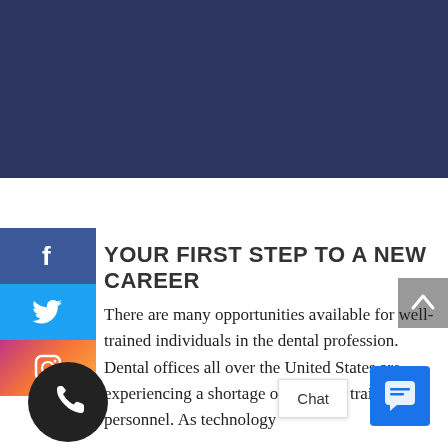[Figure (photo): Dark navy blue banner occupying the top portion of the page]
[Figure (infographic): Social media sidebar icons: Facebook (blue), Twitter (light blue), Instagram (gradient), and a phone circle button]
YOUR FIRST STEP TO A NEW CAREER
There are many opportunities available for well-trained individuals in the dental profession. Dental offices all over the United States are experiencing a shortage of properly trained personnel. As technology
[Figure (infographic): Chat widget with 'Chat' label and blue chat icon in the bottom right corner]
[Figure (infographic): Grey scroll-up arrow button on the right side]